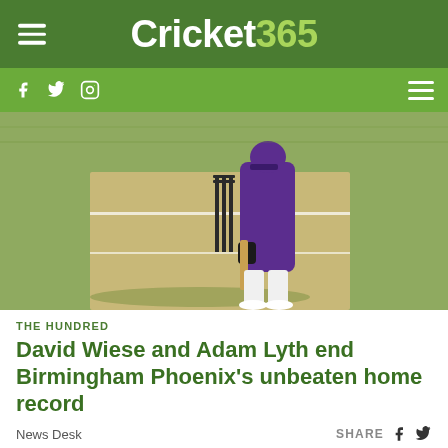Cricket365
[Figure (photo): Cricket batsman wearing purple kit at the wicket, viewed from behind, on a grass cricket ground with stumps visible]
THE HUNDRED
David Wiese and Adam Lyth end Birmingham Phoenix's unbeaten home record
News Desk
[Figure (other): Advertisement banner: In-store shopping with navigation arrow icon]